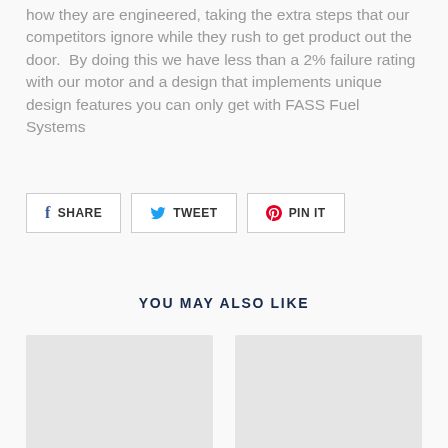how they are engineered, taking the extra steps that our competitors ignore while they rush to get product out the door.  By doing this we have less than a 2% failure rating with our motor and a design that implements unique design features you can only get with FASS Fuel Systems
[Figure (other): Social sharing buttons: SHARE (Facebook), TWEET (Twitter), PIN IT (Pinterest)]
YOU MAY ALSO LIKE
[Figure (other): Two product image placeholders side by side (light gray boxes)]